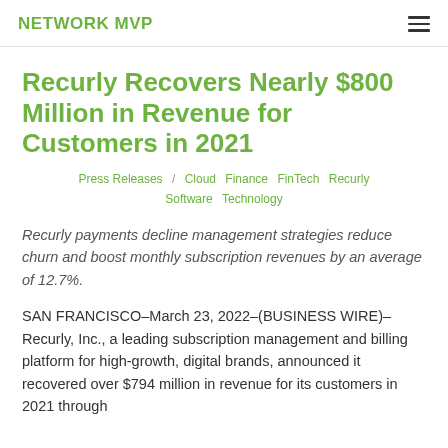NETWORK MVP
Recurly Recovers Nearly $800 Million in Revenue for Customers in 2021
Press Releases / Cloud Finance FinTech Recurly Software Technology
Recurly payments decline management strategies reduce churn and boost monthly subscription revenues by an average of 12.7%.
SAN FRANCISCO–March 23, 2022–(BUSINESS WIRE)–Recurly, Inc., a leading subscription management and billing platform for high-growth, digital brands, announced it recovered over $794 million in revenue for its customers in 2021 through